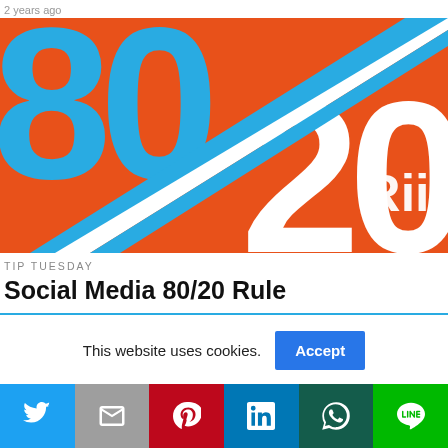2 years ago
[Figure (illustration): Orange background graphic with large blue '80' text top-left and large white '20' text bottom-right, with a diagonal white and blue stripe running from bottom-left to top-right. Partial text 'Rule' visible on bottom right.]
TIP TUESDAY
Social Media 80/20 Rule
This website uses cookies.
Accept
[Figure (infographic): Social media share bar with Twitter, Gmail, Pinterest, LinkedIn, WhatsApp, and Line buttons]